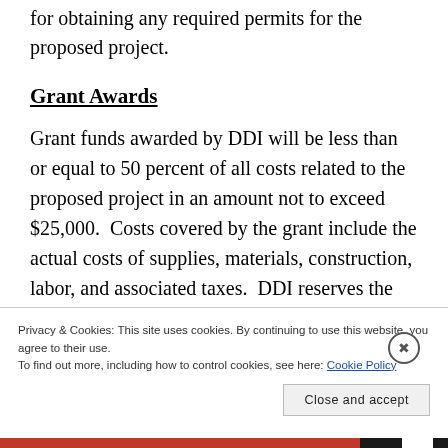for obtaining any required permits for the proposed project.
Grant Awards
Grant funds awarded by DDI will be less than or equal to 50 percent of all costs related to the proposed project in an amount not to exceed $25,000.  Costs covered by the grant include the actual costs of supplies, materials, construction, labor, and associated taxes.  DDI reserves the
Privacy & Cookies: This site uses cookies. By continuing to use this website, you agree to their use.
To find out more, including how to control cookies, see here: Cookie Policy
Close and accept